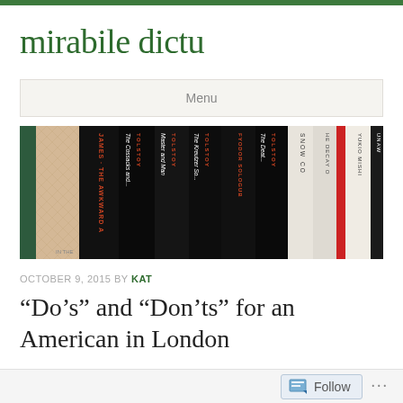mirabile dictu
Menu
[Figure (photo): A row of books on a shelf, spines visible. Multiple Tolstoy volumes including 'The Cossacks', 'Master and Man', 'The Kreutzer Sonata', 'The Death'; a James title 'The Awkward Age'; Fyodor Sologub title; 'Snow Country'; 'The Decay of'; Yukio Mishima title; and others.]
OCTOBER 9, 2015 BY KAT
“Do’s” and “Don’ts” for an American in London